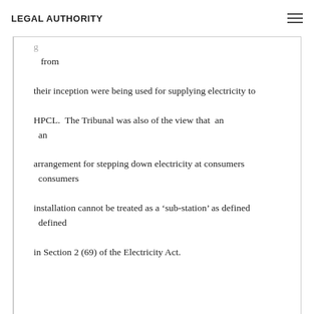LEGAL AUTHORITY
from their inception were being used for supplying electricity to HPCL. The Tribunal was also of the view that an arrangement for stepping down electricity at consumers installation cannot be treated as a 'sub-station' as defined in Section 2 (69) of the Electricity Act.